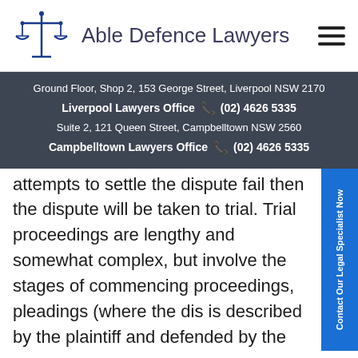[Figure (logo): Able Defence Lawyers logo with scales of justice icon in blue and firm name]
Ground Floor, Shop 2, 153 George Street, Liverpool NSW 2170
Liverpool Lawyers Office  (02) 4626 5335
Suite 2, 121 Queen Street, Campbelltown NSW 2560
Campbelltown Lawyers Office  (02) 4626 5335
attempts to settle the dispute fail then the dispute will be taken to trial. Trial proceedings are lengthy and somewhat complex, but involve the stages of commencing proceedings, pleadings (where the dis is described by the plaintiff and defended by the defendant), discovery (disclosure of documents by b sides), trial (where the judge will hear the testimony witnesses and make a ruling in the dispute), settlement and appeal. The particular court forms which need to be completed to commence a civil suit vary according to